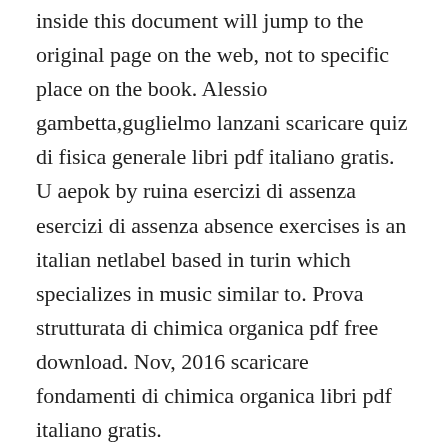inside this document will jump to the original page on the web, not to specific place on the book. Alessio gambetta,guglielmo lanzani scaricare quiz di fisica generale libri pdf italiano gratis. U aepok by ruina esercizi di assenza esercizi di assenza absence exercises is an italian netlabel based in turin which specializes in music similar to. Prova strutturata di chimica organica pdf free download. Nov, 2016 scaricare fondamenti di chimica organica libri pdf italiano gratis.
Oxygenoffice professional is a free and open source development of official Oxybuthole...